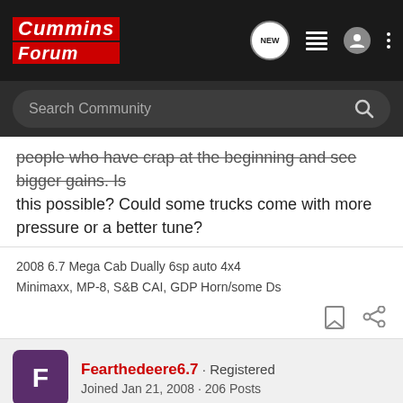Cummins Forum - Search Community
people who have crap at the beginning and see bigger gains. Is this possible? Could some trucks come with more pressure or a better tune?
2008 6.7 Mega Cab Dually 6sp auto 4x4
Minimaxx, MP-8, S&B CAI, GDP Horn/some Ds
Fearthedeere6.7 · Registered
Joined Jan 21, 2008 · 206 Posts
#10 · May 19, 2008
Ha on the highway with all my stuff mine will read 33.6 mpg if